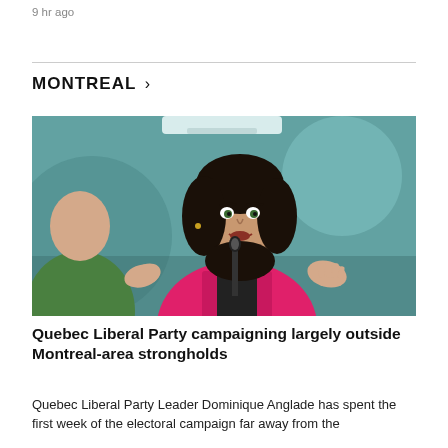9 hr ago
MONTREAL >
[Figure (photo): A woman in a bright pink jacket speaking at a microphone, gesturing with both hands. Another person in a green jacket is partially visible on the left. Background is blurred teal/grey indoor setting.]
Quebec Liberal Party campaigning largely outside Montreal-area strongholds
Quebec Liberal Party Leader Dominique Anglade has spent the first week of the electoral campaign far away from the